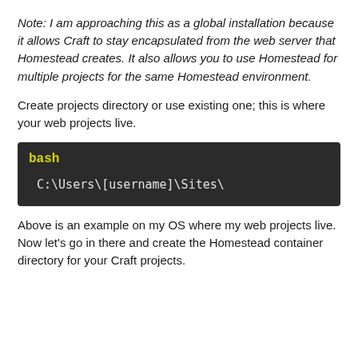Note: I am approaching this as a global installation because it allows Craft to stay encapsulated from the web server that Homestead creates. It also allows you to use Homestead for multiple projects for the same Homestead environment.
Create projects directory or use existing one; this is where your web projects live.
[Figure (screenshot): Dark terminal/code block with 'bash' label in yellow and code line 'C:\Users\[username]\Sites\' in light gray monospace font on dark background]
Above is an example on my OS where my web projects live. Now let's go in there and create the Homestead container directory for your Craft projects.